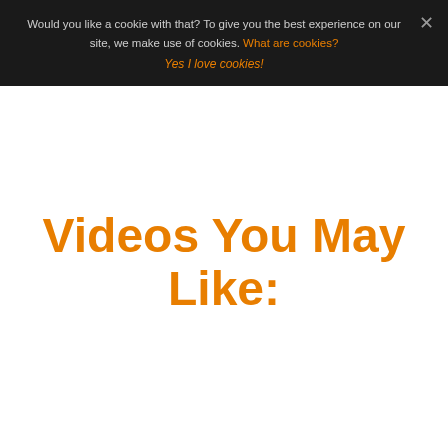Would you like a cookie with that? To give you the best experience on our site, we make use of cookies. What are cookies?
Yes I love cookies!
Videos You May Like: